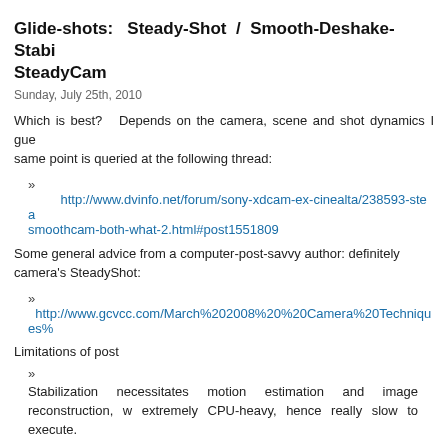Glide-shots: Steady-Shot / Smooth-Deshake-Stabi SteadyCam
Sunday, July 25th, 2010
Which is best?  Depends on the camera, scene and shot dynamics I gue same point is queried at the following thread:
» http://www.dvinfo.net/forum/sony-xdcam-ex-cinealta/238593-stea smoothcam-both-what-2.html#post1551809
Some general advice from a computer-post-savvy author: definitely camera's SteadyShot:
» http://www.gcvcc.com/March%202008%20%20Camera%20Techniques%
Limitations of post
» Stabilization necessitates motion estimation and image reconstruction, w extremely CPU-heavy, hence really slow to execute.
» Most stabilization apps (in post) can't currently cope with motion-blurre or parallax effects (though both should be possible in principle, by deco and 3D modelling both informed from multiple frames).
» For rolling-shutter-ed footage (e.g. CMOS sensors as in Sony Exmor as XDCAM-EX e.g. EX1 & EX3), there exist options to reduce the effe expect perfection, but may suffice):